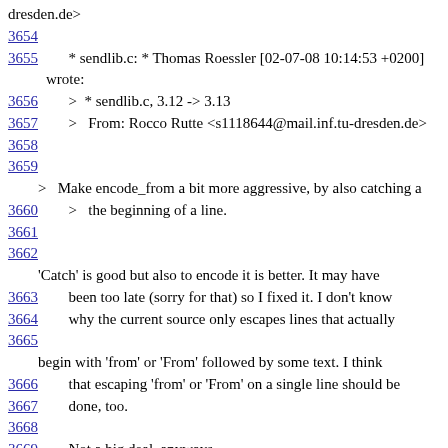dresden.de>
3654
3655      * sendlib.c: * Thomas Roessler [02-07-08 10:14:53 +0200] wrote:
3656      >  * sendlib.c, 3.12 -> 3.13
3657      >   From: Rocco Rutte <s1118644@mail.inf.tu-dresden.de>
3658
3659
>   Make encode_from a bit more aggressive, by also catching a
3660      >   the beginning of a line.
3661
3662
'Catch' is good but also to encode it is better. It may have
3663      been too late (sorry for that) so I fixed it. I don't know
3664      why the current source only escapes lines that actually
3665
begin with 'from' or 'From' followed by some text. I think
3666      that escaping 'from' or 'From' on a single line should be
3667      done, too.
3668
3669      Not a big deal, anyways.
3670
3671 2002/07/16 07:28:11  Michael Elkins <me@sigpipe.org>
3672